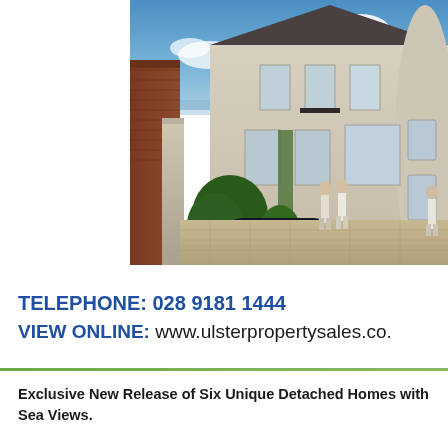[Figure (photo): Architectural rendering of an exclusive detached house with classical facade, dark car in driveway, people standing outside, blue sky with clouds, brick building on left, lush hedges]
TELEPHONE: 028 9181 1444
VIEW ONLINE: www.ulsterpropertysales.co.
Exclusive New Release of Six Unique Detached Homes with Sea Views.